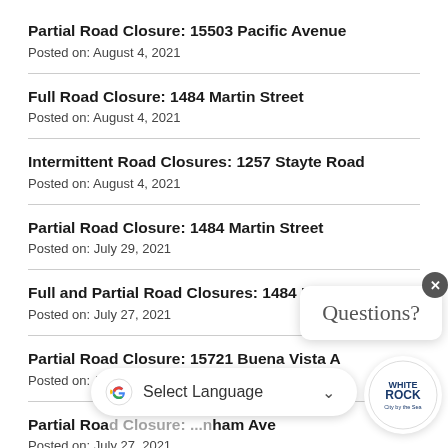Partial Road Closure: 15503 Pacific Avenue
Posted on: August 4, 2021
Full Road Closure: 1484 Martin Street
Posted on: August 4, 2021
Intermittent Road Closures: 1257 Stayte Road
Posted on: August 4, 2021
Partial Road Closure: 1484 Martin Street
Posted on: July 29, 2021
Full and Partial Road Closures: 1484 Martin Street
Posted on: July 27, 2021
Partial Road Closure: 15721 Buena Vista A...
Posted on: July 27, 2021
Partial Road Closure: ...nham Ave
Posted on: July 27, 2021
[Figure (other): Questions? popup overlay with close button]
[Figure (logo): White Rock City by the Sea circular logo]
[Figure (other): Google Translate Select Language bar overlay]